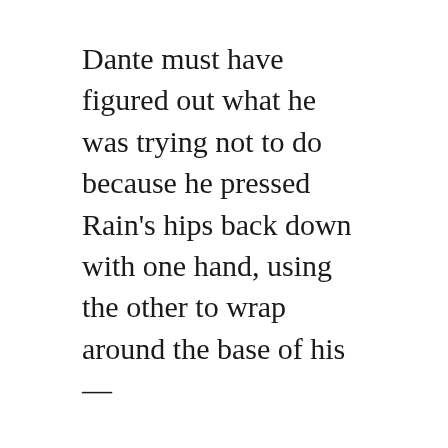Dante must have figured out what he was trying not to do because he pressed Rain's hips back down with one hand, using the other to wrap around the base of his—